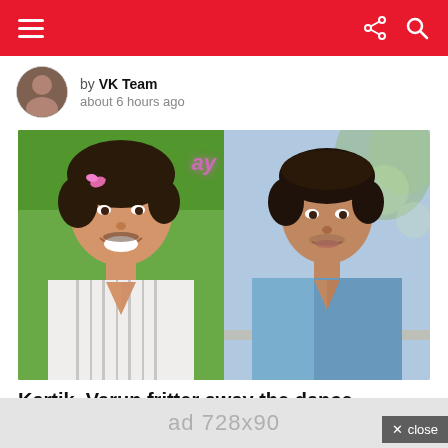Navigation bar with hamburger menu, share and search icons
by VK Team about 6 hours ago
[Figure (photo): Two Bollywood actors side by side: left person smiling in a striped open shirt against a green background, right person in a blue shirt against a blurred outdoor background]
Kartik, Varun fritter away the dance ground on 'Bom digay digay'
× close
ad 728x90